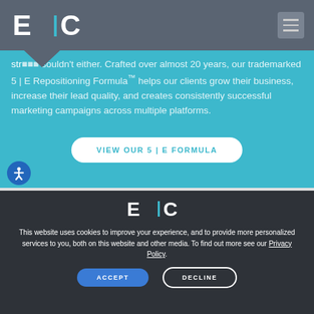E | C
str... souldn't either. Crafted over almost 20 years, our trademarked 5 I E Repositioning Formula™ helps our clients grow their business, increase their lead quality, and creates consistently successful marketing campaigns across multiple platforms.
VIEW OUR 5 | E FORMULA
[Figure (logo): E|C logo in white on dark background, bottom section]
This website uses cookies to improve your experience, and to provide more personalized services to you, both on this website and other media. To find out more see our Privacy Policy.
ACCEPT
DECLINE